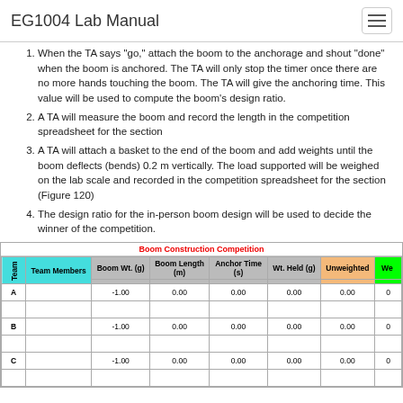EG1004 Lab Manual
When the TA says "go," attach the boom to the anchorage and shout "done" when the boom is anchored. The TA will only stop the timer once there are no more hands touching the boom. The TA will give the anchoring time. This value will be used to compute the boom's design ratio.
A TA will measure the boom and record the length in the competition spreadsheet for the section
A TA will attach a basket to the end of the boom and add weights until the boom deflects (bends) 0.2 m vertically. The load supported will be weighed on the lab scale and recorded in the competition spreadsheet for the section (Figure 120)
The design ratio for the in-person boom design will be used to decide the winner of the competition.
| Team | Team Members | Boom Wt. (g) | Boom Length (m) | Anchor Time (s) | Wt. Held (g) | Unweighted | We... |
| --- | --- | --- | --- | --- | --- | --- | --- |
| A |  | -1.00 | 0.00 | 0.00 | 0.00 | 0.00 | 0 |
| B |  | -1.00 | 0.00 | 0.00 | 0.00 | 0.00 | 0 |
| C |  | -1.00 | 0.00 | 0.00 | 0.00 | 0.00 | 0 |